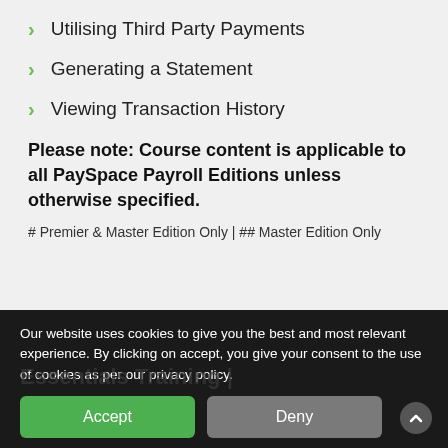Utilising Third Party Payments
Generating a Statement
Viewing Transaction History
Please note: Course content is applicable to all PaySpace Payroll Editions unless otherwise specified.
# Premier & Master Edition Only | ## Master Edition Only
Our website uses cookies to give you the best and most relevant experience. By clicking on accept, you give your consent to the use of cookies as per our privacy policy.
Accept
Deny